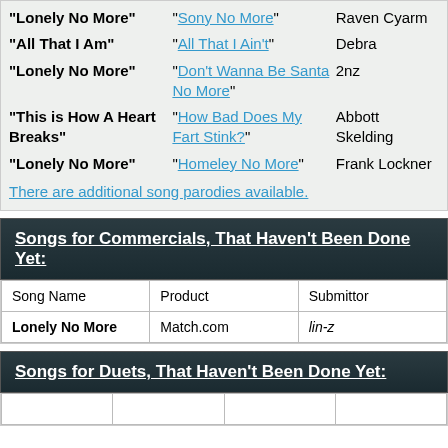| Song | Parody | Submitter |
| --- | --- | --- |
| "Lonely No More" | "Sony No More" | Raven Cyarm |
| "All That I Am" | "All That I Ain't" | Debra |
| "Lonely No More" | "Don't Wanna Be Santa No More" | 2nz |
| "This is How A Heart Breaks" | "How Bad Does My Fart Stink?" | Abbott Skelding |
| "Lonely No More" | "Homeley No More" | Frank Lockner |
There are additional song parodies available.
Songs for Commercials, That Haven't Been Done Yet:
| Song Name | Product | Submittor |
| --- | --- | --- |
| Lonely No More | Match.com | lin-z |
Songs for Duets, That Haven't Been Done Yet: